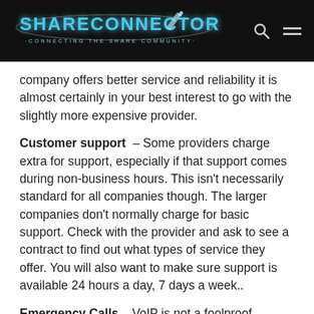[Figure (logo): ShareConnector website header with logo, search icon, and hamburger menu on dark background]
company offers better service and reliability it is almost certainly in your best interest to go with the slightly more expensive provider.
Customer support – Some providers charge extra for support, especially if that support comes during non-business hours. This isn't necessarily standard for all companies though. The larger companies don't normally charge for basic support. Check with the provider and ask to see a contract to find out what types of service they offer. You will also want to make sure support is available 24 hours a day, 7 days a week..
Emergency Calls – VoIP is not a foolproof system. Although it has major benefits over traditional phone